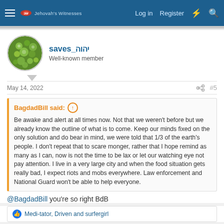Jehovah's Witnesses — Log in   Register
saves_יהוה
Well-known member
May 14, 2022   #5
BagdadBill said: ↑

Be awake and alert at all times now. Not that we weren't before but we already know the outline of what is to come. Keep our minds fixed on the only solution and do bear in mind, we were told that 1/3 of the earth's people. I don't repeat that to scare monger, rather that I hope remind as many as I can, now is not the time to be lax or let our watching eye not pay attention. I live in a very large city and when the food situation gets really bad, I expect riots and mobs everywhere. Law enforcement and National Guard won't be able to help everyone.
@BagdadBill you're so right BdB
Medi-tator, Driven and surfergirl